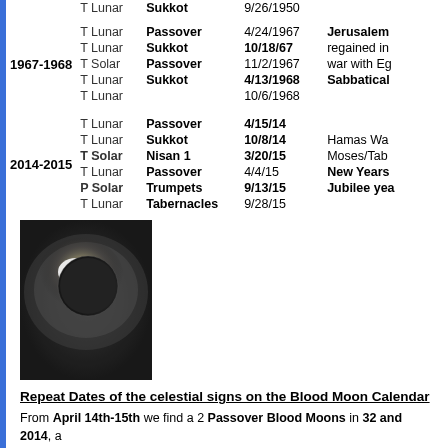| Year | Type | Holiday | Date | Note |
| --- | --- | --- | --- | --- |
|  | T Lunar | Sukkot | 9/26/1950 |  |
| 1967-1968 | T Lunar | Passover | 4/24/1967 | Jerusalem |
|  | T Lunar | Sukkot | 10/18/67 | regained in |
|  | T Solar | Passover | 11/2/1967 | war with Eg |
|  | T Lunar | Sukkot | 4/13/1968 | Sabbatical |
|  | T Lunar |  | 10/6/1968 |  |
| 2014-2015 | T Lunar | Passover | 4/15/14 |  |
|  | T Lunar | Sukkot | 10/8/14 | Hamas War |
|  | T Solar | Nisan 1 | 3/20/15 | Moses/Tabe |
|  | T Lunar | Passover | 4/4/15 | New Years |
|  | P Solar | Trumpets | 9/13/15 | Jubilee yea |
|  | T Lunar | Tabernacles | 9/28/15 |  |
[Figure (photo): Solar eclipse photograph showing sun partially obscured with bright corona visible]
Repeat Dates of the celestial signs on the Blood Moon Calendar
From April 14th-15th we find a 2 Passover Blood Moons in 32 and 2014, a Passover Penumbral Lunar Eclipse in 70 AD. In 2014 as in 70 AD the Jews